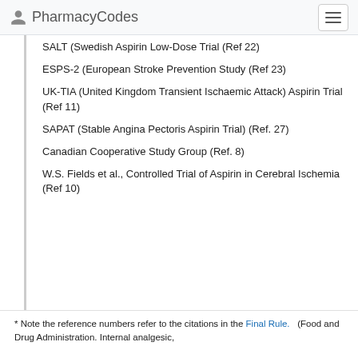PharmacyCodes
SALT (Swedish Aspirin Low-Dose Trial (Ref 22)
ESPS-2 (European Stroke Prevention Study (Ref 23)
UK-TIA (United Kingdom Transient Ischaemic Attack) Aspirin Trial (Ref 11)
SAPAT (Stable Angina Pectoris Aspirin Trial) (Ref. 27)
Canadian Cooperative Study Group (Ref. 8)
W.S. Fields et al., Controlled Trial of Aspirin in Cerebral Ischemia (Ref 10)
* Note the reference numbers refer to the citations in the Final Rule. (Food and Drug Administration. Internal analgesic,